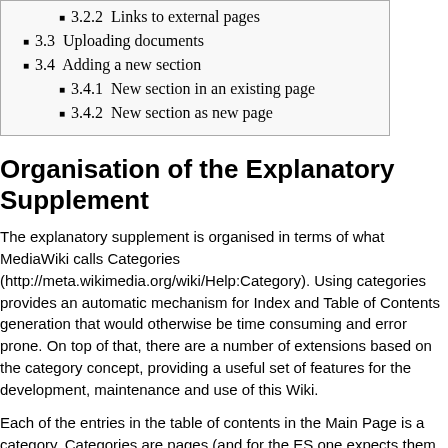3.2.2  Links to external pages
3.3  Uploading documents
3.4  Adding a new section
3.4.1  New section in an existing page
3.4.2  New section as new page
Organisation of the Explanatory Supplement
The explanatory supplement is organised in terms of what MediaWiki calls Categories (http://meta.wikimedia.org/wiki/Help:Category). Using categories provides an automatic mechanism for Index and Table of Contents generation that would otherwise be time consuming and error prone. On top of that, there are a number of extensions based on the category concept, providing a useful set of features for the development, maintenance and use of this Wiki.
Each of the entries in the table of contents in the Main Page is a category. Categories are pages (and for the ES one expects them to be reasonably self contained for the subject they cover) and can independently be added to a Collection. A typical example can be found in the Mission Products Section: a user interested in frequency